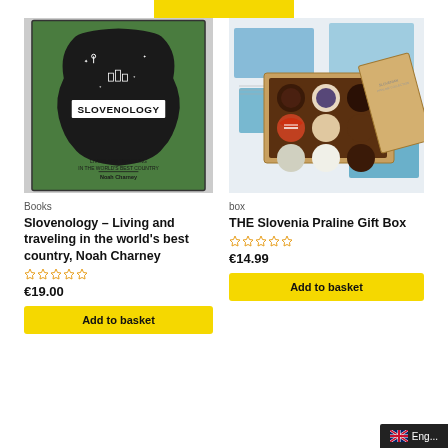[Figure (illustration): Green and black book cover: SLOVENOLOGY – Living and Traveling in the World's Best Country, Noah Charney]
[Figure (photo): Box of assorted praline chocolates resting on Slovenia tourism postcards/brochures]
Books
box
Slovenology – Living and traveling in the world's best country, Noah Charney
THE Slovenia Praline Gift Box
★★★★★ (empty stars rating)
★★★★★ (empty stars rating)
€19.00
€14.99
Add to basket
Add to basket
Eng...